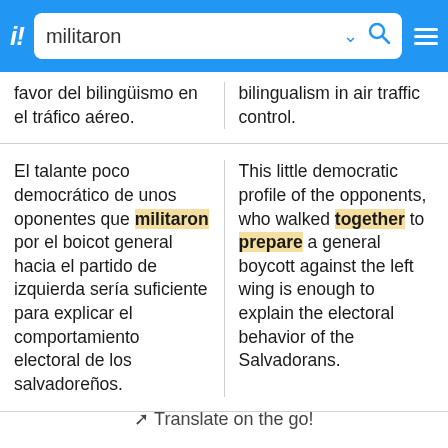[Figure (screenshot): Translation app header bar with logo 'i!', search box containing 'militaron', chevron, search icon, and hamburger menu icon on blue background]
favor del bilingüismo en el tráfico aéreo.
bilingualism in air traffic control.
El talante poco democrático de unos oponentes que militaron por el boicot general hacia el partido de izquierda sería suficiente para explicar el comportamiento electoral de los salvadoreños.
This little democratic profile of the opponents, who walked together to prepare a general boycott against the left wing is enough to explain the electoral behavior of the Salvadorans.
✈ Translate on the go!